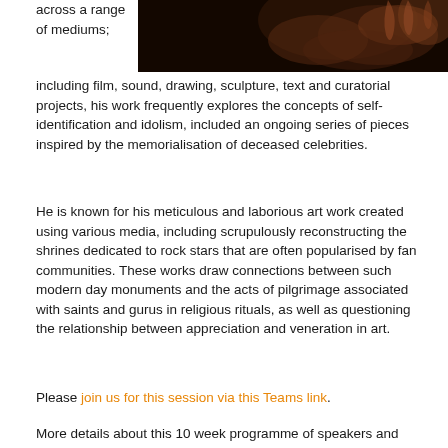[Figure (photo): Dark image showing hands or artistic subject, partially visible at top of page]
across a range of mediums;
including film, sound, drawing, sculpture, text and curatorial projects, his work frequently explores the concepts of self-identification and idolism, included an ongoing series of pieces inspired by the memorialisation of deceased celebrities.
He is known for his meticulous and laborious art work created using various media, including scrupulously reconstructing the shrines dedicated to rock stars that are often popularised by fan communities. These works draw connections between such modern day monuments and the acts of pilgrimage associated with saints and gurus in religious rituals, as well as questioning the relationship between appreciation and veneration in art.
Please join us for this session via this Teams link.
More details about this 10 week programme of speakers and